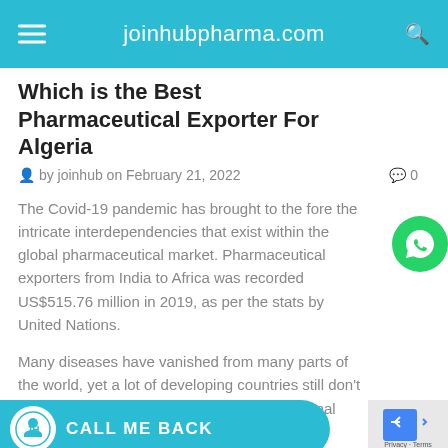joinhubpharma.com
Which is the Best Pharmaceutical Exporter For Algeria
by joinhub on February 21, 2022   0
The Covid-19 pandemic has brought to the fore the intricate interdependencies that exist within the global pharmaceutical market. Pharmaceutical exporters from India to Africa was recorded US$515.76 million in 2019, as per the stats by United Nations.
Many diseases have vanished from many parts of the world, yet a lot of developing countries still don’t get the necessary support from the international authorities to do the same. Instead themselves, the open p pharmaceutical exporters in India